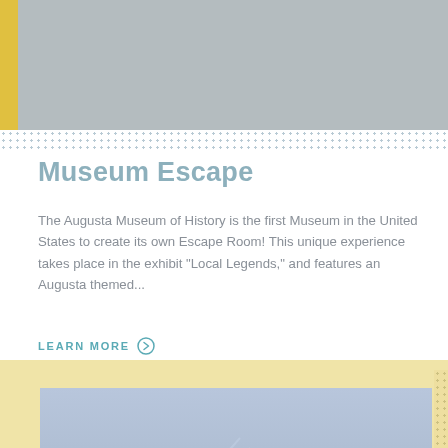[Figure (photo): Gray rectangular image placeholder at the top of the page with a yellow left bar accent]
Museum Escape
The Augusta Museum of History is the first Museum in the United States to create its own Escape Room! This unique experience takes place in the exhibit "Local Legends," and features an Augusta themed...
LEARN MORE →
[Figure (photo): Photograph of a performer on stage with light effects, appears to be a concert or performance scene with a blue/grey atmospheric background. A close button overlay is visible in the lower right.]